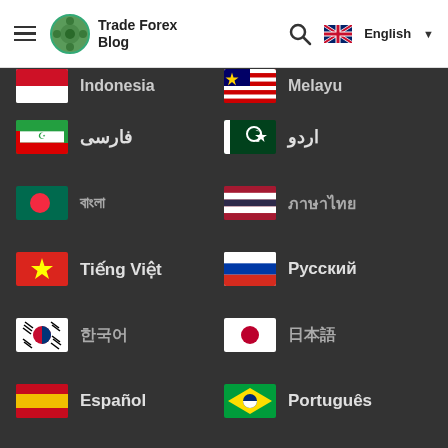Trade Forex Blog — English
Indonesia (partial)
Melayu (partial)
فارسی
اردو
বাংলা
ภาษาไทย
Tiếng Việt
Русский
한국어
日本語
Español
Português
Italiano
Français
Deutsch
Türkçe